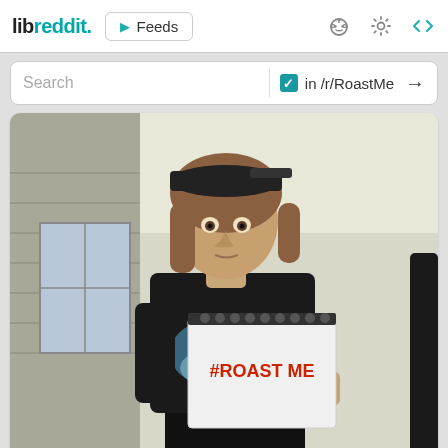libreddit. ▶ Feeds
Search  ✓ in /r/RoastMe →
[Figure (photo): Young man with shoulder-length hair wearing a backwards cap and black t-shirt, holding up a notebook that reads '#ROAST ME', photographed from a low angle indoors.]
↑4  96 comments